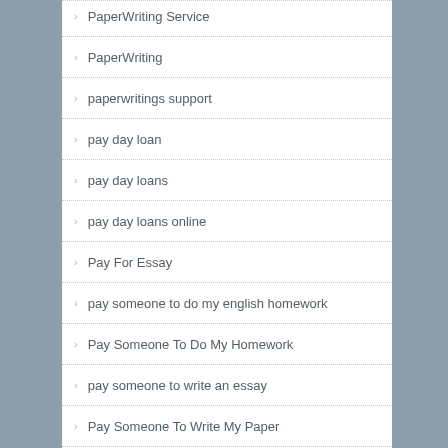PaperWriting Service
PaperWriting
paperwritings support
pay day loan
pay day loans
pay day loans online
Pay For Essay
pay someone to do my english homework
Pay Someone To Do My Homework
pay someone to write an essay
Pay Someone To Write My Paper
payday advance loan
payday advance loans near me
payday loan
payday loan online
payday loan online same day